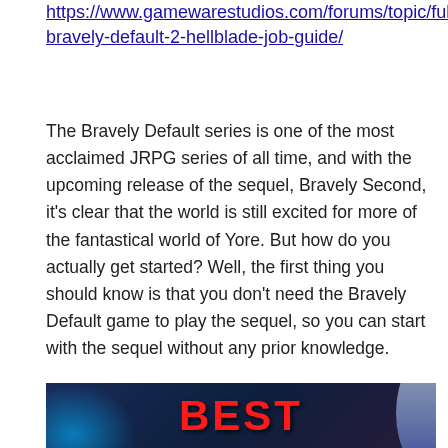https://www.gamewarestudios.com/forums/topic/full-bravely-default-2-hellblade-job-guide/
The Bravely Default series is one of the most acclaimed JRPG series of all time, and with the upcoming release of the sequel, Bravely Second, it's clear that the world is still excited for more of the fantastical world of Yore. But how do you actually get started? Well, the first thing you should know is that you don't need the Bravely Default game to play the sequel, so you can start with the sequel without any prior knowledge.
[Figure (photo): A dark-themed gaming image with glowing blue light effects on the left side, a character with silver/white hair on the right, and large bold red text reading 'BEST' in the center.]